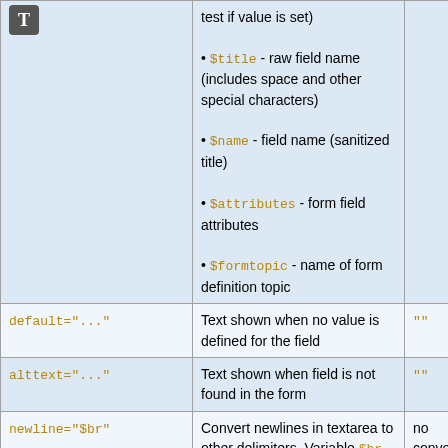| Parameter | Description | Default |
| --- | --- | --- |
| (icon T) [continued cell] | test if value is set)
• $title - raw field name (includes space and other special characters)
• $name - field name (sanitized title)
• $attributes - form field attributes
• $formtopic - name of form definition topic |  |
| default="..." | Text shown when no value is defined for the field | "" |
| alttext="..." | Text shown when field is not found in the form | "" |
| newline="$br" | Convert newlines in textarea to other delimiters. Variable $br expands to <br /> tag, and $n to a newline. | no conversion |